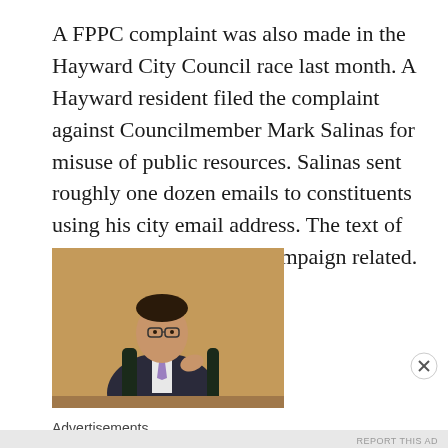A FPPC complaint was also made in the Hayward City Council race last month. A Hayward resident filed the complaint against Councilmember Mark Salinas for misuse of public resources. Salinas sent roughly one dozen emails to constituents using his city email address. The text of the emails were clearly campaign related.
[Figure (photo): A man in a dark suit and purple tie sitting at a desk in what appears to be a city council chamber with wood-paneled walls, gesturing with his hand while speaking.]
Advertisements